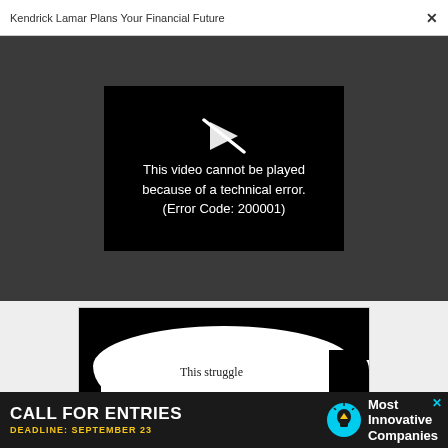Kendrick Lamar Plans Your Financial Future
[Figure (screenshot): Video player showing error message: 'This video cannot be played because of a technical error. (Error Code: 200001)' on black background with broken video icon]
[Figure (illustration): Advertisement showing oversized black glasses frames with white lens area containing text 'This struggle exists because our INDIVIDUAL WANTS']
[Figure (illustration): Bottom banner advertisement: 'CALL FOR ENTRIES DEADLINE: SEPTEMBER 23' with lightbulb icon and 'Most Innovative Companies' text]